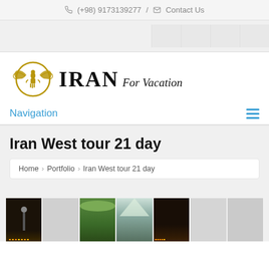(+98) 9173139277 / Contact Us
[Figure (logo): Iran For Vacation logo with Faravahar symbol in gold circle and IRAN For Vacation text]
Navigation
Iran West tour 21 day
Home > Portfolio > Iran West tour 21 day
[Figure (photo): Strip of thumbnail photos showing Iranian cities and landscapes including night cityscape, green fields, snow-capped mountains, and city lights at night]